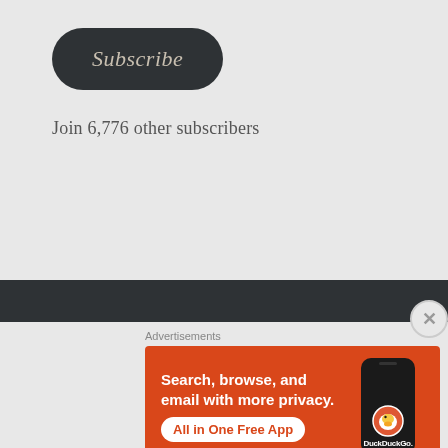[Figure (other): Subscribe button — dark rounded pill button with italic serif text 'Subscribe' in light tan color on dark charcoal background]
Join 6,776 other subscribers
[Figure (other): DuckDuckGo advertisement banner with orange background showing 'Search, browse, and email with more privacy. All in One Free App' text and a phone mockup with DuckDuckGo logo]
Advertisements